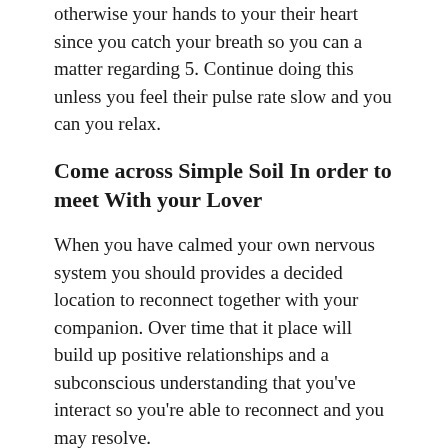otherwise your hands to your their heart since you catch your breath so you can a matter regarding 5. Continue doing this unless you feel their pulse rate slow and you can you relax.
Come across Simple Soil In order to meet With your Lover
When you have calmed your own nervous system you should provides a decided location to reconnect together with your companion. Over time that it place will build up positive relationships and a subconscious understanding that you’ve interact so you’re able to reconnect and you may resolve.
If you’re family, a beneficial starting point the latest reconnection processes is on a chair. You could sit facing away from one another otherwise facing with the one another if in case you are prepared to reconnect.